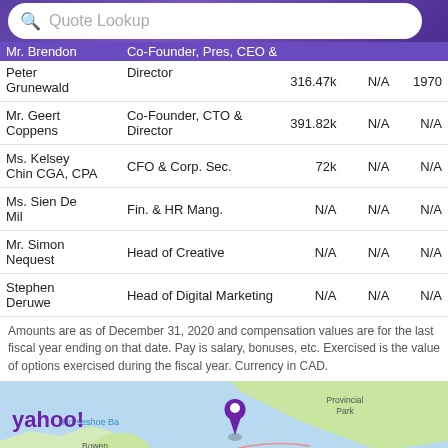Quote Lookup
| Name | Title | Pay | Exercised | Year Born |
| --- | --- | --- | --- | --- |
| Mr. Brendon | Co-Founder, Pres, CEO & Director | 316.47k | N/A | 1970 |
| Peter Grunewald |  |  |  |  |
| Mr. Geert Coppens | Co-Founder, CTO & Director | 391.82k | N/A | N/A |
| Ms. Kelsey Chin CGA, CPA | CFO & Corp. Sec. | 72k | N/A | N/A |
| Ms. Sien De Mil | Fin. & HR Mang. | N/A | N/A | N/A |
| Mr. Simon Nequest | Head of Creative | N/A | N/A | N/A |
| Stephen Deruwe | Head of Digital Marketing | N/A | N/A | N/A |
Amounts are as of December 31, 2020 and compensation values are for the last fiscal year ending on that date. Pay is salary, bonuses, etc. Exercised is the value of options exercised during the fiscal year. Currency in CAD.
[Figure (map): Yahoo! branded map showing Vancouver area including Horseshoe Bay, Bowen Island, Vancouver District, Belcarra, Anmore, Coquitlam, Provincial Park, with a purple location pin marked '1']